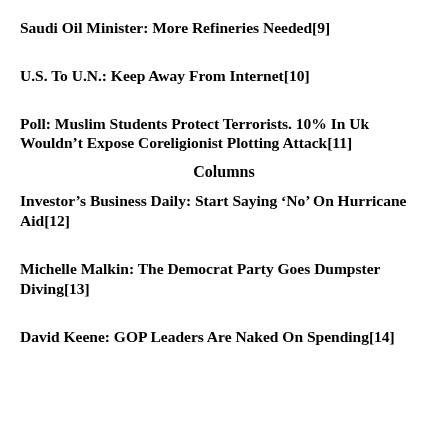Saudi Oil Minister: More Refineries Needed[9]
U.S. To U.N.: Keep Away From Internet[10]
Poll: Muslim Students Protect Terrorists. 10% In Uk Wouldn’t Expose Coreligionist Plotting Attack[11]
Columns
Investor’s Business Daily: Start Saying ‘No’ On Hurricane Aid[12]
Michelle Malkin: The Democrat Party Goes Dumpster Diving[13]
David Keene: GOP Leaders Are Naked On Spending[14]